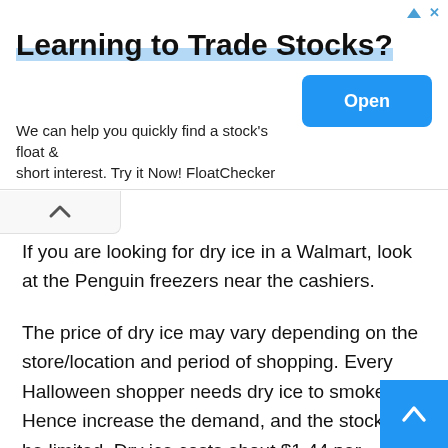[Figure (screenshot): Advertisement banner: 'Learning to Trade Stocks?' with Open button and FloatChecker promo text]
If you are looking for dry ice in a Walmart, look at the Penguin freezers near the cashiers.
The price of dry ice may vary depending on the store/location and period of shopping. Every Halloween shopper needs dry ice to smoke. Hence increase the demand, and the stock may be limited. Dry ice costs about $1.44 per kilogram.
Some Walmart stores do not stock dry ice. The store may run out of dry-ice stocks during peak demand periods.